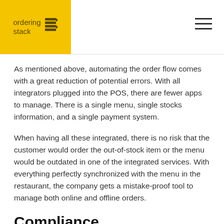ordering stack
As mentioned above, automating the order flow comes with a great reduction of potential errors. With all integrators plugged into the POS, there are fewer apps to manage. There is a single menu, single stocks information, and a single payment system.
When having all these integrated, there is no risk that the customer would order the out-of-stock item or the menu would be outdated in one of the integrated services. With everything perfectly synchronized with the menu in the restaurant, the company gets a mistake-proof tool to manage both online and offline orders.
Compliance
Last but not least – the tablet hell is a straight way to forget about placing some orders in a POS or doing it